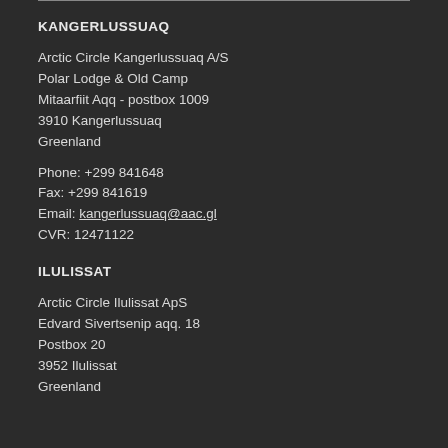KANGERLUSSUAQ
Arctic Circle Kangerlussuaq A/S
Polar Lodge & Old Camp
Mitaarfiit Aqq - postbox 1009
3910 Kangerlussuaq
Greenland
Phone: +299 841648
Fax: +299 841619
Email: kangerlussuaq@aac.gl
CVR: 12471122
ILULISSAT
Arctic Circle Ilulissat ApS
Edvard Sivertsenip aqq. 18
Postbox 20
3952 Ilulissat
Greenland